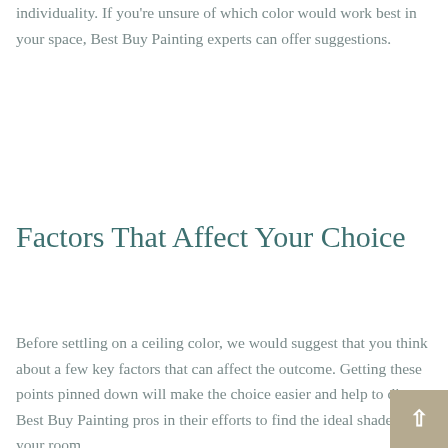individuality. If you're unsure of which color would work best in your space, Best Buy Painting experts can offer suggestions.
Factors That Affect Your Choice
Before settling on a ceiling color, we would suggest that you think about a few key factors that can affect the outcome. Getting these points pinned down will make the choice easier and help to direct Best Buy Painting pros in their efforts to find the ideal shade for your room.
Light. Know the amount of natural light that a room receives both throughout the day and